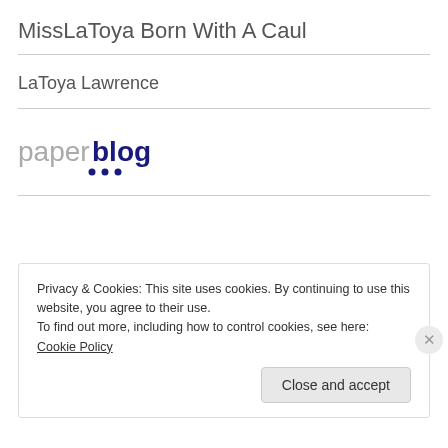MissLaToya Born With A Caul
LaToya Lawrence
[Figure (logo): Paperblog logo — 'paper' in gray, 'blog' in dark blue, with three dots in dark blue beneath the 'o' letters]
Privacy & Cookies: This site uses cookies. By continuing to use this website, you agree to their use.
To find out more, including how to control cookies, see here: Cookie Policy